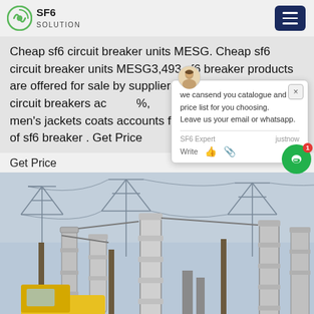SF6 SOLUTION
Cheap sf6 circuit breaker units MESG. Cheap sf6 circuit breaker units MESG3,493 sf6 breaker products are offered for sale by suppliers on Alibaba, of which circuit breakers ac...%, men's jackets coats accounts for 1%...ety of sf6 breaker . Get Price
we cansend you catalogue and price list for you choosing. Leave us your email or whatsapp.
SF6 Expert   justnow
Write
Get Price
[Figure (photo): Outdoor electrical substation with SF6 circuit breakers, large cylindrical insulators, transmission towers, power lines, and a yellow vehicle in the foreground]